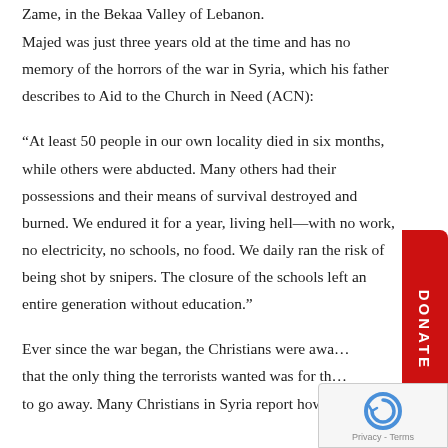Zame, in the Bekaa Valley of Lebanon.
Majed was just three years old at the time and has no memory of the horrors of the war in Syria, which his father describes to Aid to the Church in Need (ACN):
“At least 50 people in our own locality died in six months, while others were abducted. Many others had their possessions and their means of survival destroyed and burned. We endured it for a year, living hell—with no work, no electricity, no schools, no food. We daily ran the risk of being shot by snipers. The closure of the schools left an entire generation without education.”
Ever since the war began, the Christians were awa… that the only thing the terrorists wanted was for th… to go away. Many Christians in Syria report how the